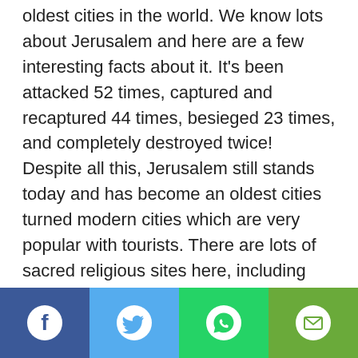oldest cities in the world. We know lots about Jerusalem and here are a few interesting facts about it. It's been attacked 52 times, captured and recaptured 44 times, besieged 23 times, and completely destroyed twice! Despite all this, Jerusalem still stands today and has become an oldest cities turned modern cities which are very popular with tourists. There are lots of sacred religious sites here, including Solomon's Temple and the Tomb of King David. Religious and political has plagued Jerusalem since the beginning and continues to do so today. Also, thought to have been populated since at least 3000 B.C., the ancient city of Jerusalem takes the silver medal in this Top 10 List of Oldest Cities.
[Figure (other): Social sharing bar with four buttons: Facebook (dark blue), Twitter (light blue), WhatsApp (green), Email (green)]